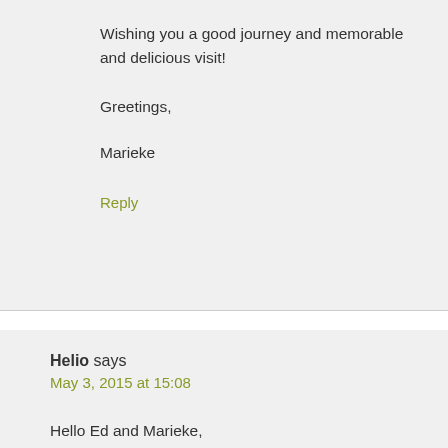Wishing you a good journey and memorable and delicious visit!
Greetings,
Marieke
Reply
Helio says
May 3, 2015 at 15:08
Hello Ed and Marieke,
What a wonderful site you have! I live in Brazil and making bread at home is a great hobby for me